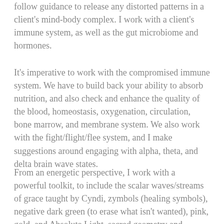follow guidance to release any distorted patterns in a client's mind-body complex. I work with a client's immune system, as well as the gut microbiome and hormones.
It's imperative to work with the compromised immune system. We have to build back your ability to absorb nutrition, and also check and enhance the quality of the blood, homeostasis, oxygenation, circulation, bone marrow, and membrane system. We also work with the fight/flight/flee system, and I make suggestions around engaging with alpha, theta, and delta brain wave states.
From an energetic perspective, I work with a powerful toolkit, to include the scalar waves/streams of grace taught by Cyndi, zymbols (healing symbols), negative dark green (to erase what isn't wanted), pink, gold, and Absolute Light, sacred geometry and numbers, and the very